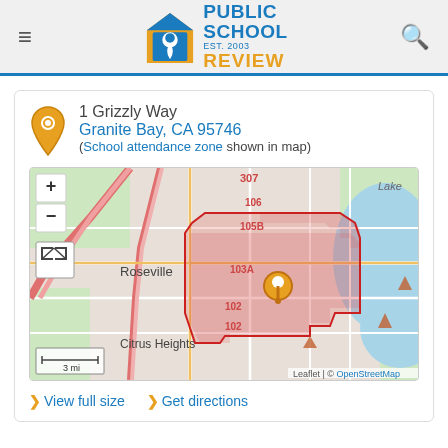Public School Review — EST. 2003
1 Grizzly Way
Granite Bay, CA 95746
(School attendance zone shown in map)
[Figure (map): Interactive map showing Roseville/Granite Bay area with school attendance zone highlighted in pink/red outline. Orange location pin marks school at center. Shows roads labeled 307, 106, 105B, 103A, 102. Cities labeled: Roseville, Citrus Heights. Blue lake area to the right. Scale: 3 mi. Attribution: Leaflet | © OpenStreetMap.]
> View full size  > Get directions